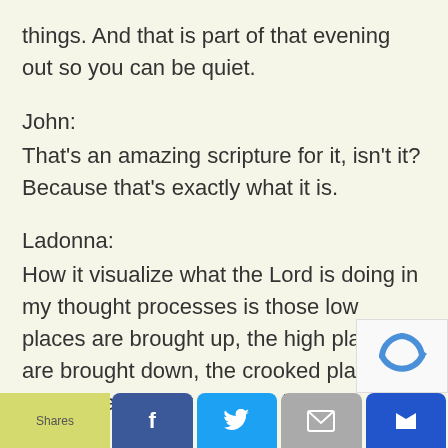things. And that is part of that evening out so you can be quiet.
John:
That's an amazing scripture for it, isn't it? Because that's exactly what it is.
Ladonna:
How it visualize what the Lord is doing in my thought processes is those low places are brought up, the high places are brought down, the crooked places are made straight so I can be quiet and be still.
John:
[Figure (screenshot): Social sharing footer bar with Shares, Facebook, Twitter, email, and crown/bookmark buttons. A reCAPTCHA widget appears in the bottom-right corner.]